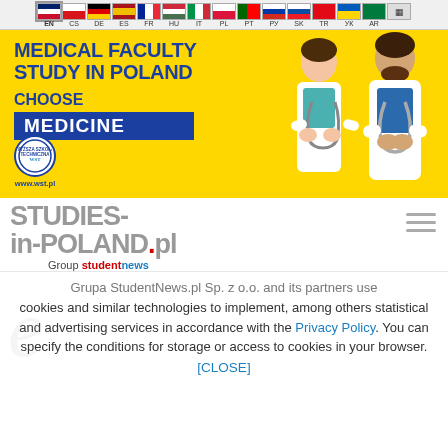EN CS DE ES FR HU IT PL PT РУ SK TR УК AR (language selector bar)
[Figure (illustration): Advertisement banner for WST Medical Faculty Study in Poland - yellow background with text 'MEDICAL FACULTY STUDY IN POLAND CHOOSE MEDICINE' and two doctors in white coats, www.wst.pl]
STUDIES-in-POLAND.pl Group studentnews
Grupa StudentNews.pl Sp. z o.o. and its partners use cookies and similar technologies to implement, among others statistical and advertising services in accordance with the Privacy Policy. You can specify the conditions for storage or access to cookies in your browser. [CLOSE]